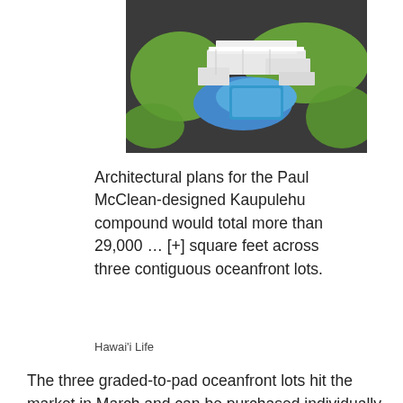[Figure (photo): Aerial architectural rendering of a Kaupulehu compound with white buildings, blue pool, and green landscaping surrounded by dark lava rock]
Architectural plans for the Paul McClean-designed Kaupulehu compound would total more than 29,000 … [+] square feet across three contiguous oceanfront lots.
Hawai'i Life
The three graded-to-pad oceanfront lots hit the market in March and can be purchased individually as one- or two-parcel properties for $12.5 million or $22.5 million, respectively. Building costs for the McClean-designed residence, which would include a two-story accessory structure, a garage and a custom swimming pool, are estimated at $43.86 million, bringing the total cost to build